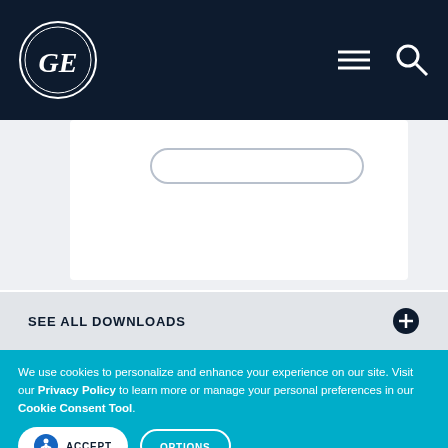[Figure (logo): GE logo in white circle on dark navy navigation bar with hamburger menu icon and search icon]
[Figure (screenshot): Partial white card with rounded rectangle outline, on light grey background]
SEE ALL DOWNLOADS
We use cookies to personalize and enhance your experience on our site. Visit our Privacy Policy to learn more or manage your personal preferences in our Cookie Consent Tool.
ACCEPT
OPTIONS